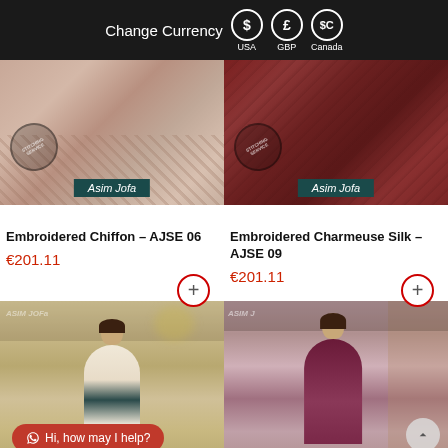Change Currency  $  USA   £  GBP   $C  Canada
[Figure (photo): Product photo of embroidered chiffon fabric, Asim Jofa brand label, with circular plus button]
Embroidered Chiffon – AJSE 06
€201.11
[Figure (photo): Product photo of embroidered charmeuse silk in dark red, Asim Jofa brand label, with circular plus button]
Embroidered Charmeuse Silk – AJSE 09
€201.11
[Figure (photo): Fashion model wearing embroidered cream outfit in Asim Jofa store]
[Figure (photo): Fashion model wearing dark maroon embroidered suit on staircase, Asim Jofa branding]